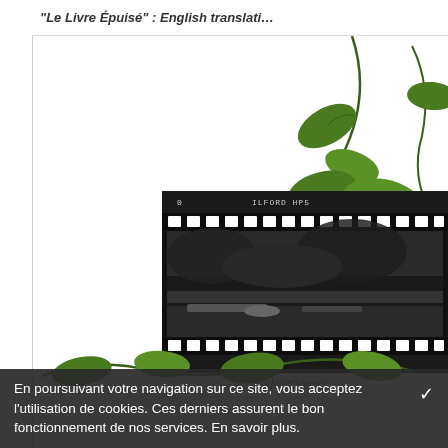"Le Livre Épuisé" : English translati…
[Figure (illustration): Botanical illustration of green vine leaves and stems with a golden snail shell, overlaid with a black-and-white film strip (ILFORD HP5 film) showing a garden/pond scene with frame numbers 23 and 23A. Below the film strip is the author signature 'frédériClément' in italic script. More vine leaves visible at bottom.]
En poursuivant votre navigation sur ce site, vous acceptez l'utilisation de cookies. Ces derniers assurent le bon fonctionnement de nos services. En savoir plus.